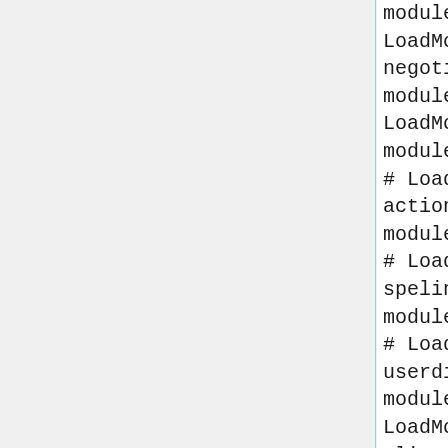modules/mod_vhost_alias.s
LoadModule negotiation_module modules/mod_negotiation.s
LoadModule dir_module modules/mod_dir.so
# LoadModule actions_module modules/mod_actions.so
# LoadModule speling_module modules/mod_speling.so
# LoadModule userdir_module modules/mod_userdir.so
LoadModule alias_module modules/mod_alias.so
# LoadModule rewrite_module modules/mod_rewrite.so